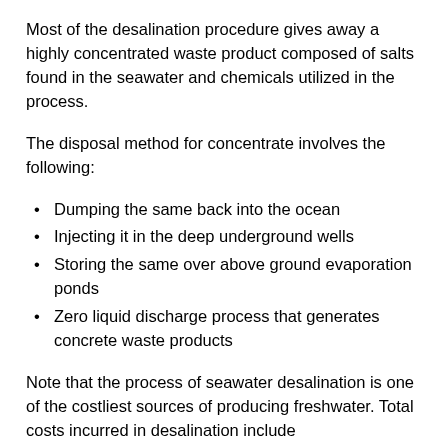Most of the desalination procedure gives away a highly concentrated waste product composed of salts found in the seawater and chemicals utilized in the process.
The disposal method for concentrate involves the following:
Dumping the same back into the ocean
Injecting it in the deep underground wells
Storing the same over above ground evaporation ponds
Zero liquid discharge process that generates concrete waste products
Note that the process of seawater desalination is one of the costliest sources of producing freshwater. Total costs incurred in desalination include